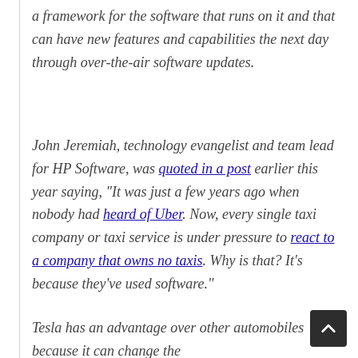a framework for the software that runs on it and that can have new features and capabilities the next day through over-the-air software updates.
John Jeremiah, technology evangelist and team lead for HP Software, was quoted in a post earlier this year saying, "It was just a few years ago when nobody had heard of Uber. Now, every single taxi company or taxi service is under pressure to react to a company that owns no taxis. Why is that? It's because they've used software."
Tesla has an advantage over other automobiles because it can change the